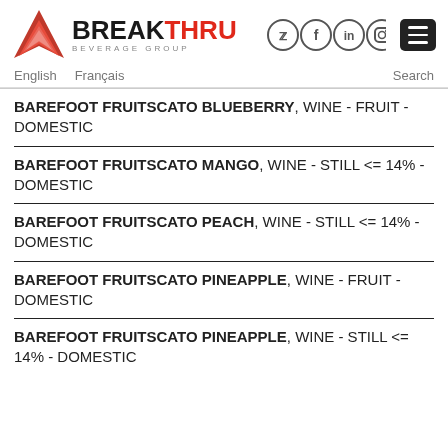BREAKTHRU BEVERAGE GROUP
BAREFOOT FRUITSCATO BLUEBERRY, WINE - FRUIT - DOMESTIC
BAREFOOT FRUITSCATO MANGO, WINE - STILL <= 14% - DOMESTIC
BAREFOOT FRUITSCATO PEACH, WINE - STILL <= 14% - DOMESTIC
BAREFOOT FRUITSCATO PINEAPPLE, WINE - FRUIT - DOMESTIC
BAREFOOT FRUITSCATO PINEAPPLE, WINE - STILL <= 14% - DOMESTIC